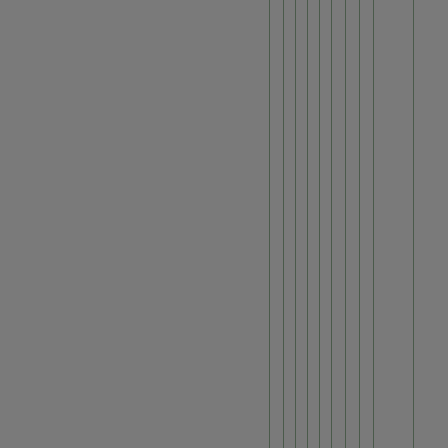students on a deeper level. The m available for use by anyone that n develop romantic relationships, yo will serve you well of our own care
Connections can help you attain y access to resources that otherwis people who are knowledgeable ab your students. This kind of visibili your office or perhaps other orga also allow you to build and mainta
Because successful relationships with a major and strong tool. With since you can develop more signif between the people involved. Hum associations. In other words, in ca and morale, and if you are having and increase understanding amon
Building Better Romantic relations